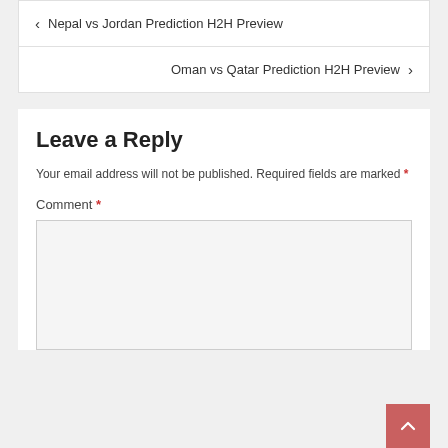< Nepal vs Jordan Prediction H2H Preview
Oman vs Qatar Prediction H2H Preview >
Leave a Reply
Your email address will not be published. Required fields are marked *
Comment *